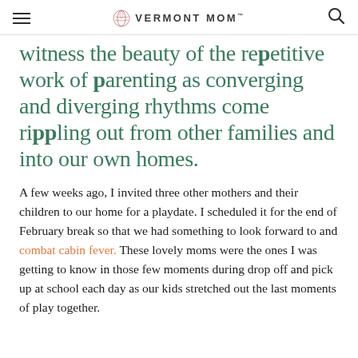VERMONT MOM
witness the beauty of the repetitive work of parenting as converging and diverging rhythms come rippling out from other families and into our own homes.
A few weeks ago, I invited three other mothers and their children to our home for a playdate. I scheduled it for the end of February break so that we had something to look forward to and combat cabin fever. These lovely moms were the ones I was getting to know in those few moments during drop off and pick up at school each day as our kids stretched out the last moments of play together.